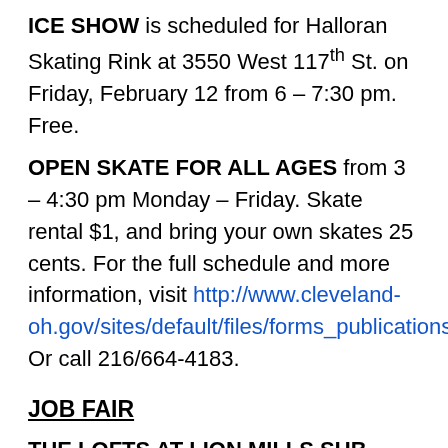ICE SHOW is scheduled for Halloran Skating Rink at 3550 West 117th St. on Friday, February 12 from 6 – 7:30 pm.  Free.
OPEN SKATE FOR ALL AGES from 3 – 4:30 pm Monday – Friday.  Skate rental $1, and bring your own skates 25 cents.  For the full schedule and more information, visit http://www.cleveland-oh.gov/sites/default/files/forms_publications/HalloranFall2015.pdf Or call 216/664-4183.
JOB FAIR
THE LOFTS AT LION MILLS SUB-CONTRACTOR JOB FAIR: February 5th, 8 a.m.- 9:30 a.m., Detroit Shoreway Community Room, 6516 Detroit Ave. The Lofts at Lion Mills Project, located at W. 25th and Meyer Ave, is a historic rehabilitation of a currently vacant commercial